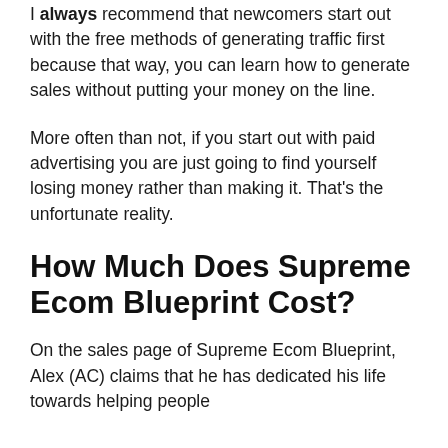I always recommend that newcomers start out with the free methods of generating traffic first because that way, you can learn how to generate sales without putting your money on the line.
More often than not, if you start out with paid advertising you are just going to find yourself losing money rather than making it. That's the unfortunate reality.
How Much Does Supreme Ecom Blueprint Cost?
On the sales page of Supreme Ecom Blueprint, Alex (AC) claims that he has dedicated his life towards helping people